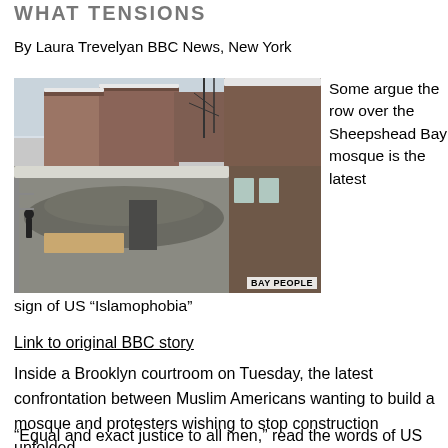WHAT TENSIONS
By Laura Trevelyan BBC News, New York
[Figure (photo): Aerial view of a construction site in winter with snow-covered ground, brick buildings in background, debris and construction equipment visible. Caption: BAY PEOPLE]
Some argue the row over the Sheepshead Bay mosque is the latest sign of US “Islamophobia”
Link to original BBC story
Inside a Brooklyn courtroom on Tuesday, the latest confrontation between Muslim Americans wanting to build a mosque and protesters wishing to stop construction unfolded.
“Equal and exact justice to all men,” read the words of US President Thomas Jefferson, inscribed on the court’s wall.